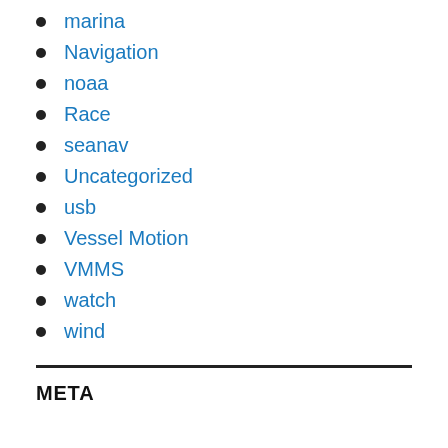marina
Navigation
noaa
Race
seanav
Uncategorized
usb
Vessel Motion
VMMS
watch
wind
META